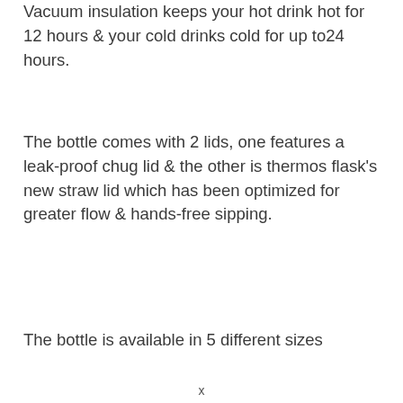Vacuum insulation keeps your hot drink hot for 12 hours & your cold drinks cold for up to24 hours.
The bottle comes with 2 lids, one features a leak-proof chug lid & the other is thermos flask's new straw lid which has been optimized for greater flow & hands-free sipping.
The bottle is available in 5 different sizes
x